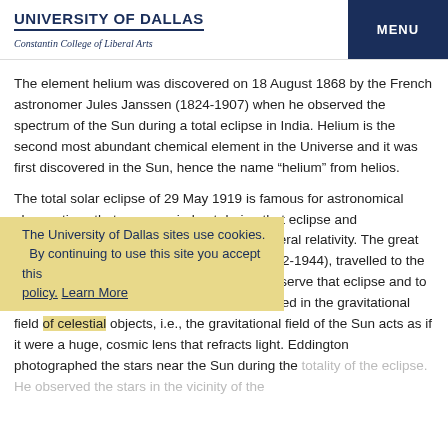UNIVERSITY OF DALLAS
Constantin College of Liberal Arts | MENU
The element helium was discovered on 18 August 1868 by the French astronomer Jules Janssen (1824-1907) when he observed the spectrum of the Sun during a total eclipse in India. Helium is the second most abundant chemical element in the Universe and it was first discovered in the Sun, hence the name “helium” from helios.
The total solar eclipse of 29 May 1919 is famous for astronomical observations that were carried out during that eclipse and confirmed some of Einstein’s work on general relativity. The great British astronomer, Sir Arthur Eddington (1882-1944), travelled to the island of Principe off the coast of Africa to observe that eclipse and to verify Einstein’s prediction that light is deflected in the gravitational field of celestial objects, i.e., the gravitational field of the Sun acts as if it were a huge, cosmic lens that refracts light. Eddington photographed the stars near the Sun during the totality of the eclipse. He observed the stars in the vicinity of the
The University of Dallas sites use cookies. By continuing to use this site you accept this policy. Learn More